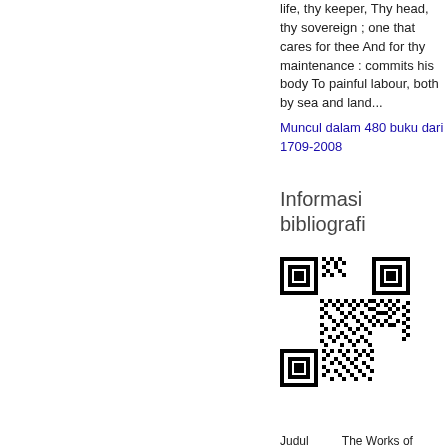life, thy keeper, Thy head, thy sovereign ; one that cares for thee And for thy maintenance : commits his body To painful labour, both by sea and land...
Muncul dalam 480 buku dari 1709-2008
Informasi bibliografi
[Figure (other): QR code linking to bibliographic information]
Judul	The Works of